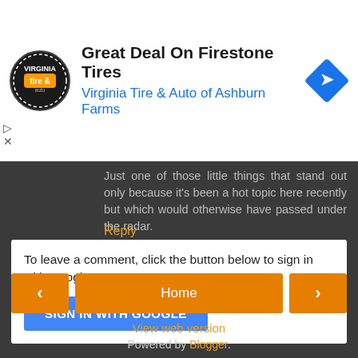[Figure (screenshot): Advertisement banner for Virginia Tire & Auto of Ashburn Farms with circular logo, title 'Great Deal On Firestone Tires', blue subtitle, and blue navigation road sign icon]
Just one of those little things that stand out only because it's been a hot topic here recently but which would otherwise have passed under the radar.
Reply
To leave a comment, click the button below to sign in with Google.
SIGN IN WITH GOOGLE
Home
View web version
Powered by Blogger.